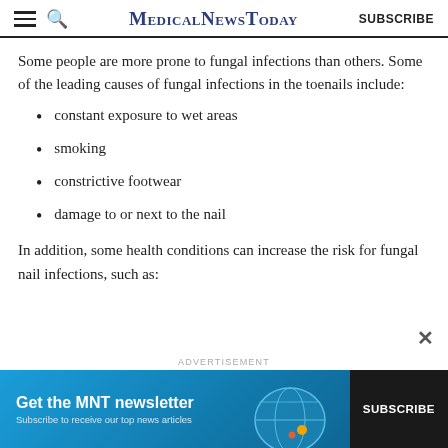MedicalNewsToday SUBSCRIBE
Some people are more prone to fungal infections than others. Some of the leading causes of fungal infections in the toenails include:
constant exposure to wet areas
smoking
constrictive footwear
damage to or next to the nail
In addition, some health conditions can increase the risk for fungal nail infections, such as:
[Figure (infographic): Advertisement banner: Get the MNT newsletter. Subscribe to receive our top news articles. SUBSCRIBE button on dark background, with decorative globe graphic.]